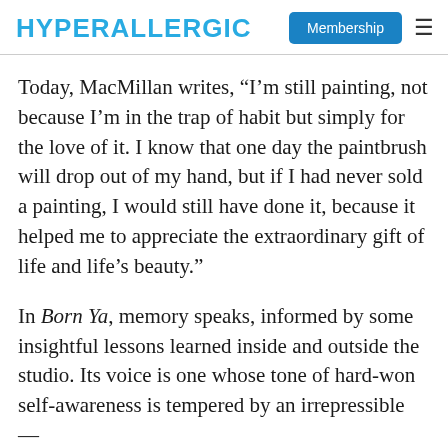HYPERALLERGIC  Membership ≡
Today, MacMillan writes, “I’m still painting, not because I’m in the trap of habit but simply for the love of it. I know that one day the paintbrush will drop out of my hand, but if I had never sold a painting, I would still have done it, because it helped me to appreciate the extraordinary gift of life and life’s beauty.”
In Born Ya, memory speaks, informed by some insightful lessons learned inside and outside the studio. Its voice is one whose tone of hard-won self-awareness is tempered by an irrepressible —